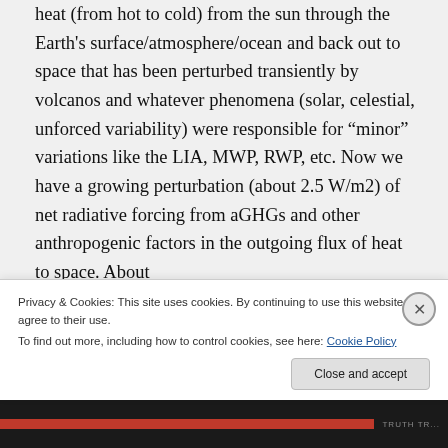heat (from hot to cold) from the sun through the Earth's surface/atmosphere/ocean and back out to space that has been perturbed transiently by volcanos and whatever phenomena (solar, celestial, unforced variability) were responsible for “minor” variations like the LIA, MWP, RWP, etc. Now we have a growing perturbation (about 2.5 W/m2) of net radiative forcing from aGHGs and other anthropogenic factors in the outgoing flux of heat to space. About
Privacy & Cookies: This site uses cookies. By continuing to use this website, you agree to their use.
To find out more, including how to control cookies, see here: Cookie Policy